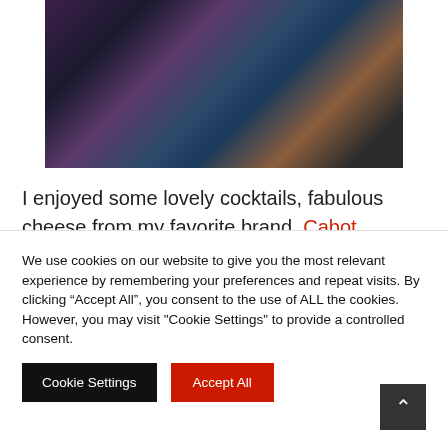[Figure (photo): Indoor scene with people at what appears to be a shopping or social event, dark clothing and interior visible]
I enjoyed some lovely cocktails, fabulous cheese from my favorite brand, Cabot, catching up with a few friends and of course shopping. I had another event to go to, so I grabbed my goodie bag and headed out
[Figure (photo): Interior scene with white curtains or draping fabric in a well-lit space]
We use cookies on our website to give you the most relevant experience by remembering your preferences and repeat visits. By clicking “Accept All”, you consent to the use of ALL the cookies. However, you may visit "Cookie Settings" to provide a controlled consent.